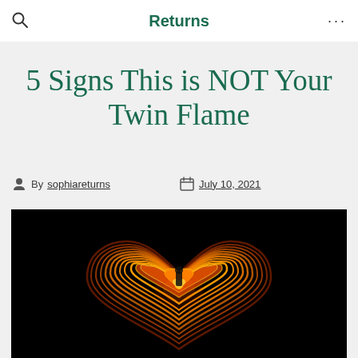Returns
5 Signs This is NOT Your Twin Flame
By sophiareturns   July 10, 2021
[Figure (photo): A glowing red-orange heart shape made of light trails/fire on a black background, with concentric heart outlines radiating outward and a small heart at the center.]